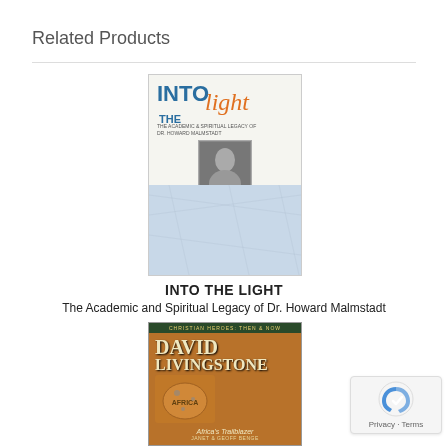Related Products
[Figure (photo): Book cover: INTO THE LIGHT - The Academic and Spiritual Legacy of Dr. Howard Malmstadt]
INTO THE LIGHT
The Academic and Spiritual Legacy of Dr. Howard Malmstadt
[Figure (photo): Book cover: David Livingstone - Africa's Trailblazer by Janet & Geoff Benge (Christian Heroes Then & Now series)]
[Figure (other): Google reCAPTCHA privacy badge with Privacy and Terms links]